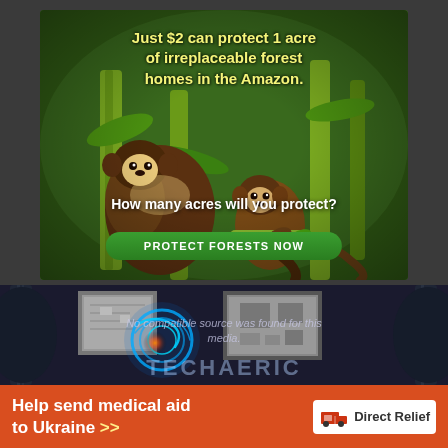[Figure (infographic): Advertisement showing two brown Amazon monkeys (titi monkeys) on bamboo branches in a lush green forest. Top text in yellow: 'Just $2 can protect 1 acre of irreplaceable forest homes in the Amazon.' Bottom text in white: 'How many acres will you protect?' Green oval button: 'PROTECT FORESTS NOW']
[Figure (screenshot): Media player panel with dark blue background, electric guitars on left and right edges, two framed circuit-board prints on wall, glowing blue circular logo on left, 'TECHAERIC' text watermark, and centered text: 'No compatible source was found for this media.']
No compatible source was found for this media.
[Figure (infographic): Orange banner advertisement for Direct Relief charity. Left text: 'Help send medical aid to Ukraine >>' Right side: Direct Relief logo with white box-truck icon and organization name.]
Help send medical aid to Ukraine >>